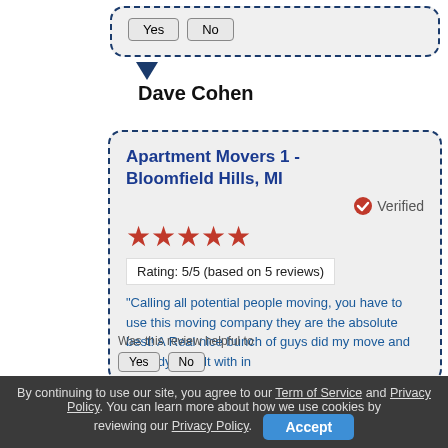Yes   No
Dave Cohen
Apartment Movers 1 - Bloomfield Hills, MI
Verified
[Figure (illustration): 5 red stars rating]
Rating: 5/5 (based on 5 reviews)
"Calling all potential people moving, you have to use this moving company they are the absolute best! A Real nice bunch of guys did my move and the lady I dealt with in
Was this review helpful to
Yes   No
By continuing to use our site, you agree to our Term of Service and Privacy Policy. You can learn more about how we use cookies by reviewing our Privacy Policy.  Accept